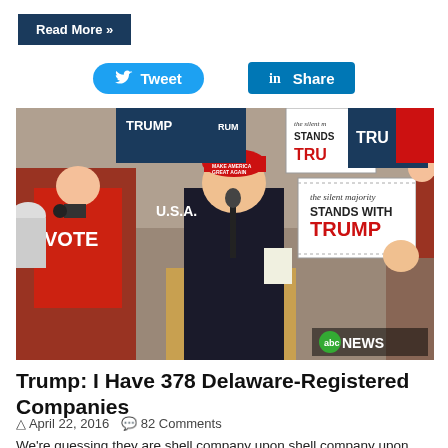Read More »
[Figure (other): Twitter Tweet button and LinkedIn Share button]
[Figure (photo): Donald Trump speaking at a campaign rally at a podium, with supporters holding 'The silent majority STANDS WITH TRUMP' signs in the background. ABC News logo visible in lower right.]
Trump: I Have 378 Delaware-Registered Companies
April 22, 2016  82 Comments
We're guessing they are shell company upon shell company upon